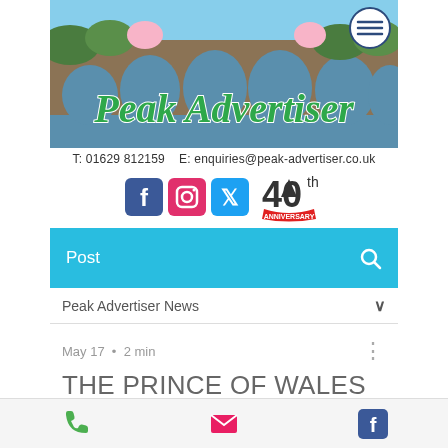[Figure (screenshot): Peak Advertiser website header with bridge/river photo background, 'Peak Advertiser' in green script lettering, and hamburger menu icon in top right]
T: 01629 812159   E: enquiries@peak-advertiser.co.uk
[Figure (other): Facebook, Instagram, and Twitter social media icons, plus 40th anniversary logo]
Post
Peak Advertiser News
May 17  •  2 min
THE PRINCE OF WALES & THE SINNERS OF
[Figure (other): Bottom navigation bar with phone, email, and Facebook icons]